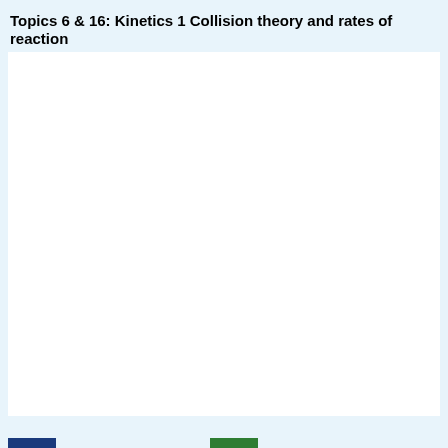Topics 6 & 16: Kinetics 1 Collision theory and rates of reaction